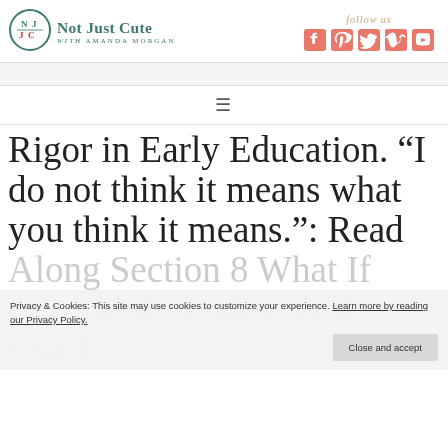Not Just Cute with Amanda Morgan
[Figure (logo): Not Just Cute NJC circular logo with teal color scheme]
follow us
[Figure (infographic): Social media icons: Facebook, Pinterest, Twitter, Vimeo, YouTube in salmon/coral color]
[Figure (infographic): Hamburger menu icon (three horizontal lines)]
Rigor in Early Education. “I do not think it means what you think it means.”: Read Along Section 8 What If Everybody Understood Child
Privacy & Cookies: This site may use cookies to customize your experience. Learn more by reading our Privacy Policy.
Close and accept